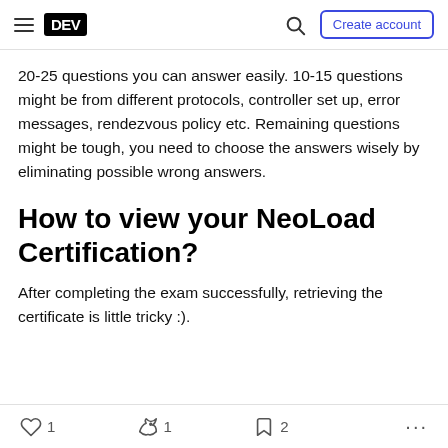DEV | Create account
20-25 questions you can answer easily. 10-15 questions might be from different protocols, controller set up, error messages, rendezvous policy etc. Remaining questions might be tough, you need to choose the answers wisely by eliminating possible wrong answers.
How to view your NeoLoad Certification?
After completing the exam successfully, retrieving the certificate is little tricky :).
1 likes  1 reactions  2 saves  ...